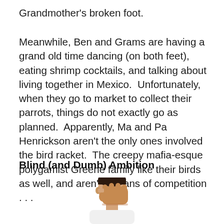Grandmother's broken foot.
Meanwhile, Ben and Grams are having a grand old time dancing (on both feet), eating shrimp cocktails, and talking about living together in Mexico.  Unfortunately, when they go to market to collect their parrots, things do not exactly go as planned.  Apparently, Ma and Pa Henrickson aren't the only ones involved the bird racket.  The creepy mafia-esque polygamist Greene family like their birds as well, and aren't big fans of competition . . .
Blind (and Dumb) Ambition
[Figure (photo): A man in a white shirt covering his face with one hand in a facepalm gesture, photographed from roughly chest up against a white background.]